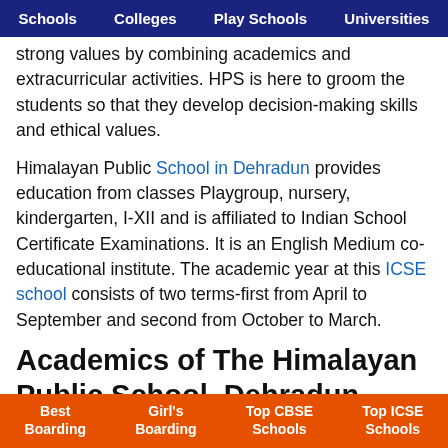Schools | Colleges | Play Schools | Universities
strong values by combining academics and extracurricular activities. HPS is here to groom the students so that they develop decision-making skills and ethical values.
Himalayan Public School in Dehradun provides education from classes Playgroup, nursery, kindergarten, I-XII and is affiliated to Indian School Certificate Examinations. It is an English Medium co-educational institute. The academic year at this ICSE school consists of two terms-first from April to September and second from October to March.
Academics of The Himalayan Public School, Dehradun
The Himalayan Public School is affiliated to the
Best Boarding | Girl's Boarding | Top CBSE Schools | Top ICSE Schools